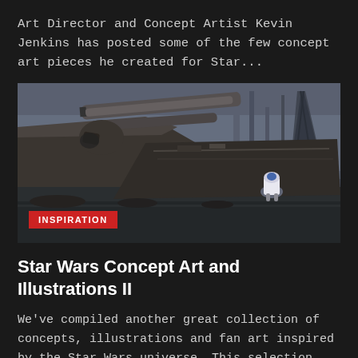Art Director and Concept Artist Kevin Jenkins has posted some of the few concept art pieces he created for Star...
[Figure (illustration): Dark sci-fi concept art showing a large wrecked spacecraft or vehicle in a post-apocalyptic environment, with an R2-D2-like droid standing in the foreground looking toward the wreckage under a hazy sky. A red badge labeled INSPIRATION is in the lower-left corner.]
Star Wars Concept Art and Illustrations II
We've compiled another great collection of concepts, illustrations and fan art inspired by the Star Wars universe. This selection includes...